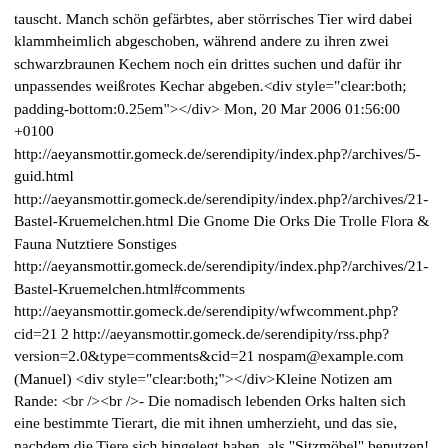tauscht. Manch schön gefärbtes, aber störrisches Tier wird dabei klammheimlich abgeschoben, während andere zu ihren zwei schwarzbraunen Kechem noch ein drittes suchen und dafür ihr unpassendes weißrotes Kechar abgeben.<div style="clear:both; padding-bottom:0.25em"></div> Mon, 20 Mar 2006 01:56:00 +0100 http://aeyansmottir.gomeck.de/serendipity/index.php?/archives/5-guid.html http://aeyansmottir.gomeck.de/serendipity/index.php?/archives/21-Bastel-Kruemelchen.html Die Gnome Die Orks Die Trolle Flora & Fauna Nutztiere Sonstiges http://aeyansmottir.gomeck.de/serendipity/index.php?/archives/21-Bastel-Kruemelchen.html#comments http://aeyansmottir.gomeck.de/serendipity/wfwcomment.php?cid=21 2 http://aeyansmottir.gomeck.de/serendipity/rss.php?version=2.0&type=comments&cid=21 nospam@example.com (Manuel) <div style="clear:both;"></div>Kleine Notizen am Rande: <br /><br />- Die nomadisch lebenden Orks halten sich eine bestimmte Tierart, die mit ihnen umherzieht, und das sie, nachdem die Tiere sich hingelegt haben, als "Sitzmöbel" benutzen! <br /><br />- Während einer Wanderung in Norwegens stillgelegten Silberabbaugebieten kam die Idee eines "Schubkarren-Friedhofs", weil dort so manche Schubkarre den Wegrand zierte ... im weitesten Sinn für die Weltenbastelei wären das Beerdigungsriten für Gebrauchsgegenstände, die einen hohen